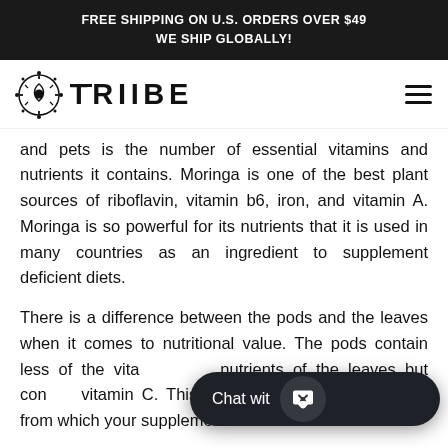FREE SHIPPING ON U.S. ORDERS OVER $49
WE SHIP GLOBALLY!
[Figure (logo): TRIIBE brand logo with decorative circular icon and stylized text]
and pets is the number of essential vitamins and nutrients it contains. Moringa is one of the best plant sources of riboflavin, vitamin b6, iron, and vitamin A. Moringa is so powerful for its nutrients that it is used in many countries as an ingredient to supplement deficient diets.
There is a difference between the pods and the leaves when it comes to nutritional value. The pods contain less of the vitamins and nutrients of the leaves but contain vitamin C. This is why it's important to know from which your supplement was derived.